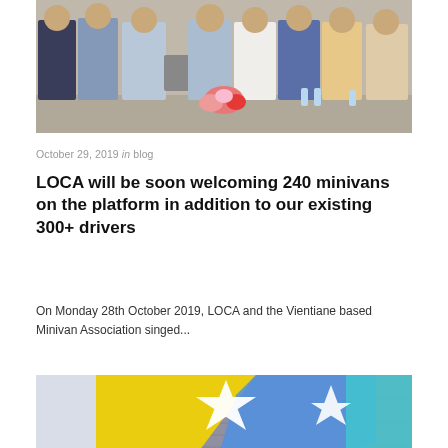[Figure (photo): Group photo of several people in formal and semi-formal attire shaking hands and holding a document/folder, likely at a signing ceremony. Flower bouquet and water bottles visible on a table in the foreground.]
October 29, 2019 in blog
LOCA will be soon welcoming 240 minivans on the platform in addition to our existing 300+ drivers
On Monday 28th October 2019, LOCA and the Vientiane based Minivan Association singed...
[Figure (photo): A white car parked in front of a colorful graffiti mural on a brick wall featuring yellow, blue, green, purple, and orange colors with a star design.]